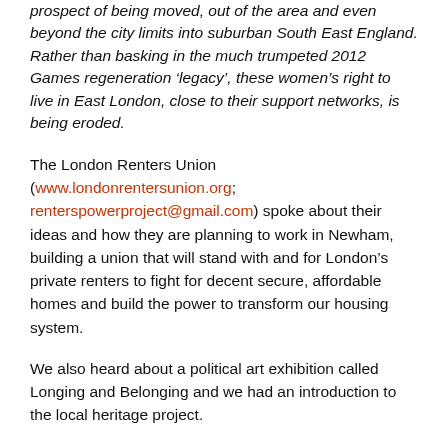prospect of being moved, out of the area and even beyond the city limits into suburban South East England. Rather than basking in the much trumpeted 2012 Games regeneration 'legacy', these women's right to live in East London, close to their support networks, is being eroded.
The London Renters Union (www.londonrentersunion.org; renterspowerproject@gmail.com) spoke about their ideas and how they are planning to work in Newham, building a union that will stand with and for London's private renters to fight for decent secure, affordable homes and build the power to transform our housing system.
We also heard about a political art exhibition called Longing and Belonging and we had an introduction to the local heritage project.
The Heritage Lottery Project – Discovering Stratford Village 1890-1990